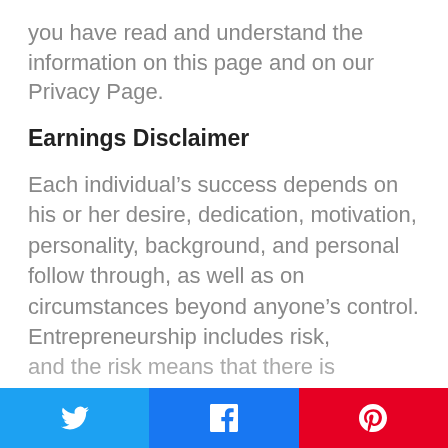you have read and understand the information on this page and on our Privacy Page.
Earnings Disclaimer
Each individual’s success depends on his or her desire, dedication, motivation, personality, background, and personal follow through, as well as on circumstances beyond anyone’s control. Entrepreneurship includes risk,
and the risk...